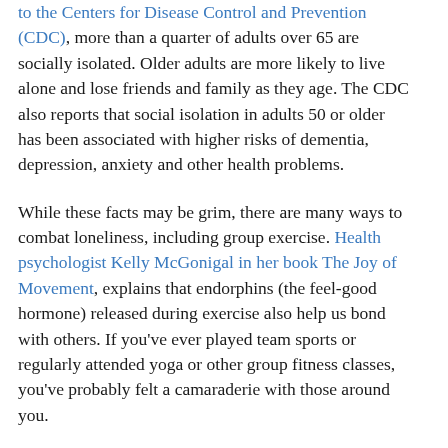to the Centers for Disease Control and Prevention (CDC), more than a quarter of adults over 65 are socially isolated. Older adults are more likely to live alone and lose friends and family as they age. The CDC also reports that social isolation in adults 50 or older has been associated with higher risks of dementia, depression, anxiety and other health problems.
While these facts may be grim, there are many ways to combat loneliness, including group exercise. Health psychologist Kelly McGonigal in her book The Joy of Movement, explains that endorphins (the feel-good hormone) released during exercise also help us bond with others. If you've ever played team sports or regularly attended yoga or other group fitness classes, you've probably felt a camaraderie with those around you.
Programs like SilverSneakers by Tivity Health offer many types of group activities that make a difference in the lives of seniors. The company's 2021 Annual Member Survey